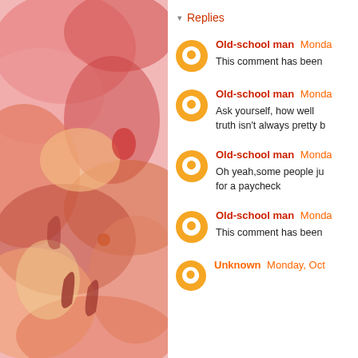[Figure (illustration): Watercolor painting with pink, red, orange, and yellow abstract floral/organic shapes on the left half of the page]
▾ Replies
Old-school man Monda... This comment has been
Old-school man Monda... Ask yourself, how well truth isn't always pretty b
Old-school man Monda... Oh yeah,some people j... for a paycheck
Old-school man Monda... This comment has been
Unknown Monday, Oct...